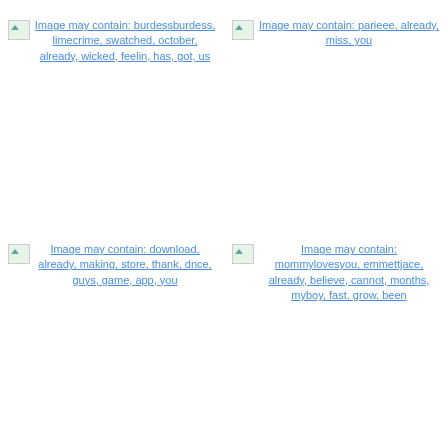[Figure (other): Broken image placeholder with link text: Image may contain: burdessburdess, limecrime, swatched, october, already, wicked, feelin, has, got, us]
[Figure (other): Broken image placeholder with link text: Image may contain: parieee, already, miss, you]
[Figure (other): Broken image placeholder with link text: Image may contain: download, already, making, store, thank, dnce, guys, game, app, you]
[Figure (other): Broken image placeholder with link text: Image may contain: mommylovesyou, emmettjace, already, believe, cannot, months, myboy, fast, grow, been]